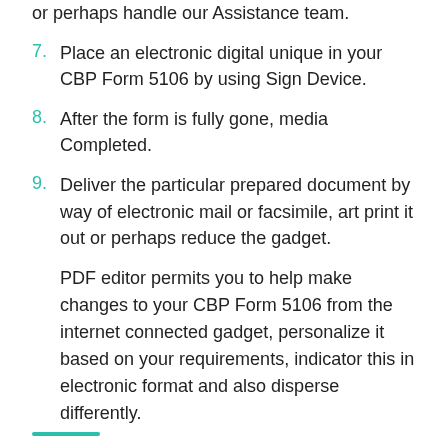or perhaps handle our Assistance team.
7. Place an electronic digital unique in your CBP Form 5106 by using Sign Device.
8. After the form is fully gone, media Completed.
9. Deliver the particular prepared document by way of electronic mail or facsimile, art print it out or perhaps reduce the gadget.
PDF editor permits you to help make changes to your CBP Form 5106 from the internet connected gadget, personalize it based on your requirements, indicator this in electronic format and also disperse differently.